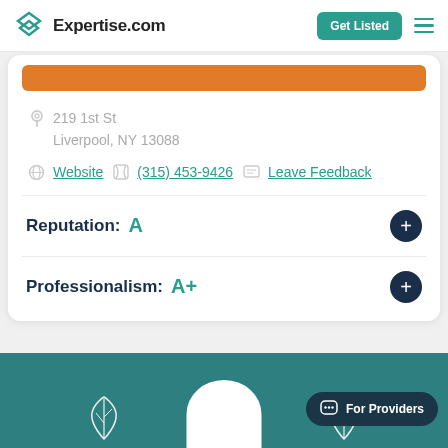Expertise.com
219 1st St
Liverpool, NY 13088
Website  (315) 453-9426  Leave Feedback
Reputation:  A
Professionalism:  A+
[Figure (other): Teal section with profile avatar placeholder, decorative leaf icons, and a 'For Providers' chat pill button]